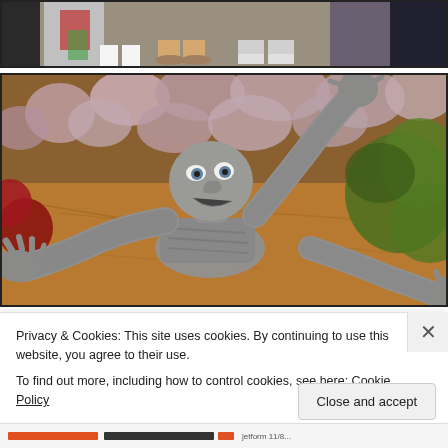[Figure (photo): Partial view of people's legs and feet standing together, cropped at the top of the page.]
[Figure (photo): A grey stone/concrete zombie sculpture emerging from mulch in a flower bed, with flowers and green plants in the background. The zombie figure is reaching upward with both arms and looking upward with an agonized expression.]
Privacy & Cookies: This site uses cookies. By continuing to use this website, you agree to their use.
To find out more, including how to control cookies, see here: Cookie Policy
Close and accept